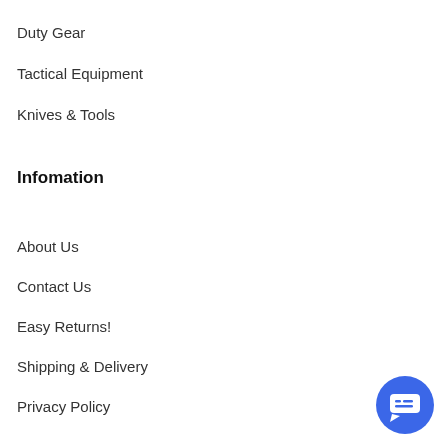Duty Gear
Tactical Equipment
Knives & Tools
Infomation
About Us
Contact Us
Easy Returns!
Shipping & Delivery
Privacy Policy
[Figure (illustration): Blue circular chat button with chat icon in bottom right corner]